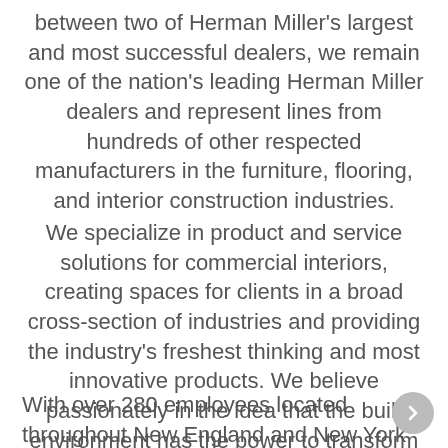between two of Herman Miller's largest and most successful dealers, we remain one of the nation's leading Herman Miller dealers and represent lines from hundreds of other respected manufacturers in the furniture, flooring, and interior construction industries.
We specialize in product and service solutions for commercial interiors, creating spaces for clients in a broad cross-section of industries and providing the industry's freshest thinking and most innovative products. We believe passionately in the idea that the built environment has the power to transform the way people work and live.
With over 280 employees located throughout New England and New York City, we are a team of high-